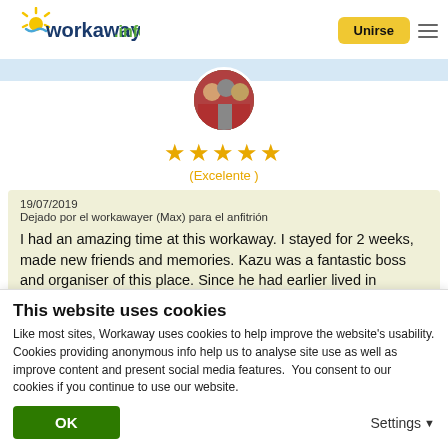workaway.info — Unirse
[Figure (photo): Circular profile photo of a group of people, partially cropped by blue strip]
★★★★★
(Excelente )
19/07/2019
Dejado por el workawayer (Max) para el anfitrión
I had an amazing time at this workaway. I stayed for 2 weeks, made new friends and memories. Kazu was a fantastic boss and organiser of this place. Since he had earlier lived in Australia he spoke very good English. He was
This website uses cookies
Like most sites, Workaway uses cookies to help improve the website's usability. Cookies providing anonymous info help us to analyse site use as well as improve content and present social media features.  You consent to our cookies if you continue to use our website.
OK
Settings ▾